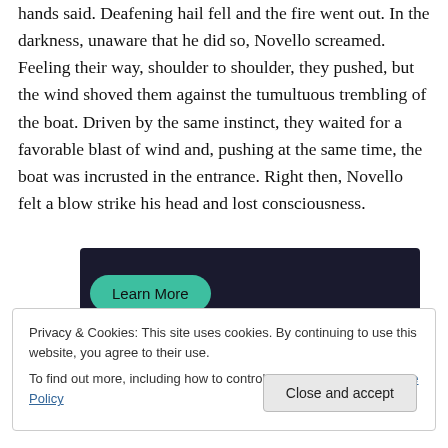move the boat farther into the cave, the prisoner's wood hands said. Deafening hail fell and the fire went out. In the darkness, unaware that he did so, Novello screamed. Feeling their way, shoulder to shoulder, they pushed, but the wind shoved them against the tumultuous trembling of the boat. Driven by the same instinct, they waited for a favorable blast of wind and, pushing at the same time, the boat was incrusted in the entrance. Right then, Novello felt a blow strike his head and lost consciousness.
[Figure (other): Dark banner advertisement with a teal 'Learn More' button]
Privacy & Cookies: This site uses cookies. By continuing to use this website, you agree to their use.
To find out more, including how to control cookies, see here: Cookie Policy
Close and accept